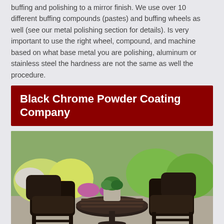buffing and polishing to a mirror finish. We use over 10 different buffing compounds (pastes) and buffing wheels as well (see our metal polishing section for details). Is very important to use the right wheel, compound, and machine based on what base metal you are polishing, aluminum or stainless steel the hardness are not the same as well the procedure.
Black Chrome Powder Coating Company
[Figure (photo): Outdoor patio furniture set with two dark wicker chairs and a round black metal table with a potted plant on top, set on a concrete patio with a green garden background.]
Decorative Metal Coatings uses electro nickel plating as a base and corrosion protection coating. The high polishing and nickel